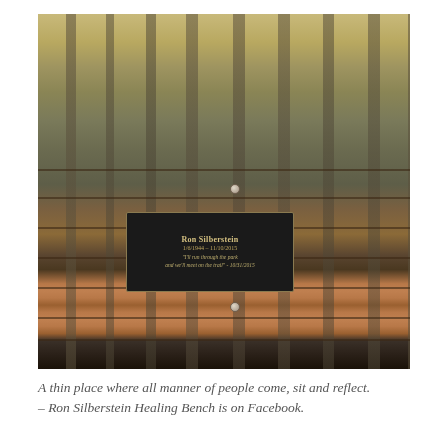[Figure (photo): A memorial park bench with horizontal brown slats photographed from behind, with a small dark plaque mounted on the middle slat reading 'Ron Silberstein 1/6/1944 - 11/10/2013' and a quote. Background shows a wooded area with tall bare-trunked trees and autumn foliage on a hillside.]
A thin place where all manner of people come, sit and reflect. – Ron Silberstein Healing Bench is on Facebook.